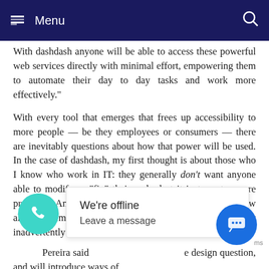Menu
With dashdash anyone will be able to access these powerful web services directly with minimal effort, empowering them to automate their day to day tasks and work more effectively."
With every tool that emerges that frees up accessibility to more people — be they employees or consumers — there are inevitably questions about how that power will be used. In the case of dashdash, my first thought is about those who I know who work in IT: they generally don't want anyone able to modify or "fix" their code, lest it just creates more problems. And that's before you start wondering about how all these democratised web apps will look, and if they might inadvertently will add to more overall UX confu...
Pereira said... design question, and will introduce ways of
[Figure (other): We're offline / Leave a message chat popup overlay]